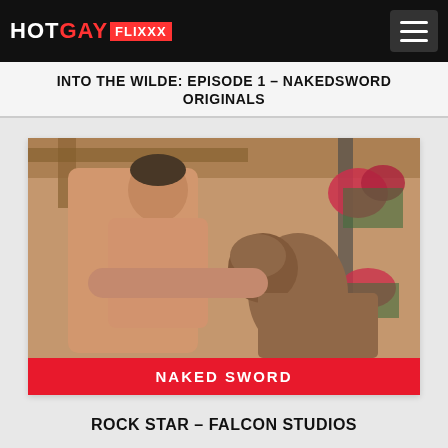HOTGAY FLIXXX
INTO THE WILDE: EPISODE 1 – NAKEDSWORD ORIGINALS
[Figure (photo): Screenshot of a video thumbnail showing two men in an adult video scene with a red banner label reading NAKED SWORD]
NAKED SWORD
ROCK STAR – FALCON STUDIOS